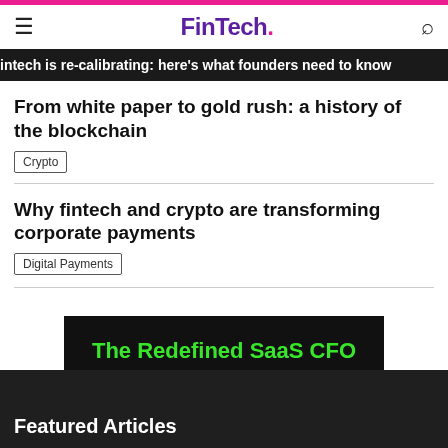FinTech.
intech is re-calibrating: here's what founders need to know
From white paper to gold rush: a history of the blockchain
Crypto
Why fintech and crypto are transforming corporate payments
Digital Payments
[Figure (other): Advertisement banner: black background with green bold text reading 'The Redefined SaaS CFO']
Featured Articles